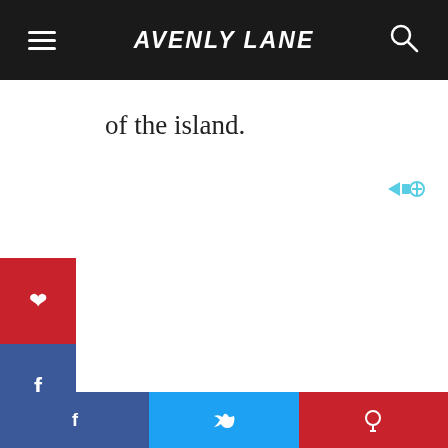AVENLY LANE
of the island.
[Figure (screenshot): Advertisement area with play/close icons in top right corner and Moat watermark at bottom right]
This side of the island gets a lot more wind,
[Figure (infographic): Vertical social share sidebar with Pinterest (red), Facebook (blue), Twitter (light blue), Buffer (dark), WhatsApp (green) buttons]
[Figure (infographic): Bottom share bar with Facebook (blue), Twitter (light blue), Pinterest (red) share buttons]